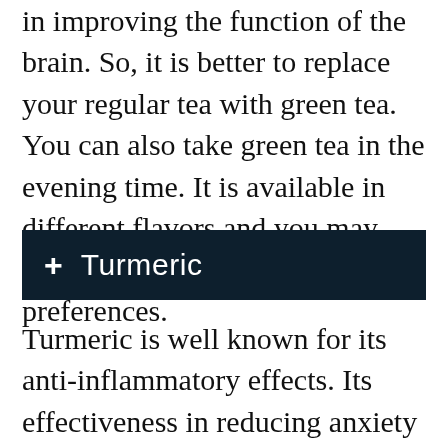in improving the function of the brain. So, it is better to replace your regular tea with green tea. You can also take green tea in the evening time. It is available in different flavors and you may choose the one according to your preferences.
+ Turmeric
Turmeric is well known for its anti-inflammatory effects. Its effectiveness in reducing anxiety is also commendable. One of its main components is curcumin. It plays a significant role in increasing brain functioning. It reduces inflammation and protects the brain cells. It is